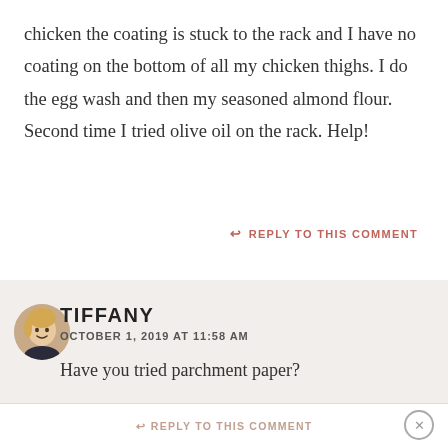chicken the coating is stuck to the rack and I have no coating on the bottom of all my chicken thighs. I do the egg wash and then my seasoned almond flour. Second time I tried olive oil on the rack. Help!
↩ REPLY TO THIS COMMENT
TIFFANY
OCTOBER 1, 2019 AT 11:58 AM
Have you tried parchment paper?
↩ REPLY TO THIS COMMENT